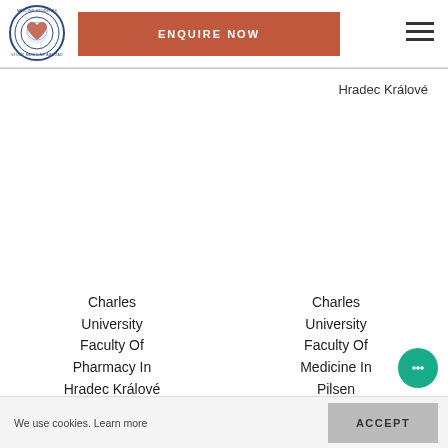[Figure (logo): Medlink Students Study Medicine Abroad circular logo with heart graphic]
ENQUIRE NOW
Hradec Králové
Charles University Faculty Of Pharmacy In Hradec Králové
Charles University Faculty Of Medicine In Pilsen
We use cookies. Learn more
ACCEPT